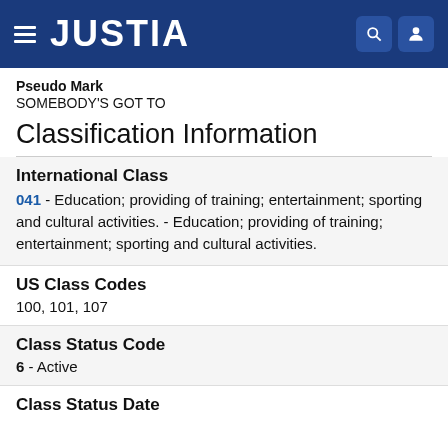JUSTIA
Pseudo Mark
SOMEBODY'S GOT TO
Classification Information
International Class
041 - Education; providing of training; entertainment; sporting and cultural activities. - Education; providing of training; entertainment; sporting and cultural activities.
US Class Codes
100, 101, 107
Class Status Code
6 - Active
Class Status Date